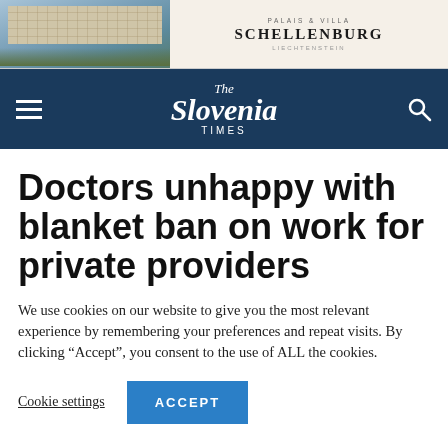[Figure (illustration): Advertisement banner for Palais & Villa Schellenburg, Liechtenstein. Left side shows a photo of a modern building with trees. Right side shows text: PALAIS & VILLA SCHELLENBURG, LIECHTENSTEIN.]
The Slovenia TIMES
Doctors unhappy with blanket ban on work for private providers
We use cookies on our website to give you the most relevant experience by remembering your preferences and repeat visits. By clicking “Accept”, you consent to the use of ALL the cookies.
Cookie settings   ACCEPT